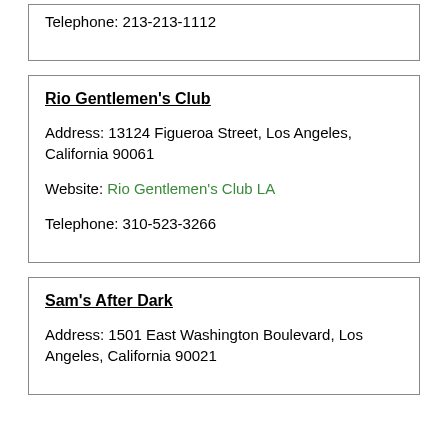Telephone: 213-213-1112
Rio Gentlemen's Club
Address: 13124 Figueroa Street, Los Angeles, California 90061
Website: Rio Gentlemen's Club LA
Telephone: 310-523-3266
Sam's After Dark
Address: 1501 East Washington Boulevard, Los Angeles, California 90021